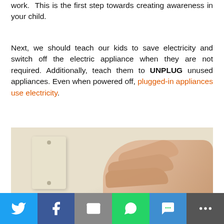work.  This is the first step towards creating awareness in your child.
Next, we should teach our kids to save electricity and switch off the electric appliance when they are not required. Additionally, teach them to UNPLUG unused appliances. Even when powered off, plugged-in appliances use electricity.
[Figure (photo): A hand reaching toward a light switch plate on a wall, demonstrating switching off electric appliances.]
[Figure (infographic): Social media share bar at the bottom with Twitter, Facebook, Email, WhatsApp, SMS, and More buttons.]